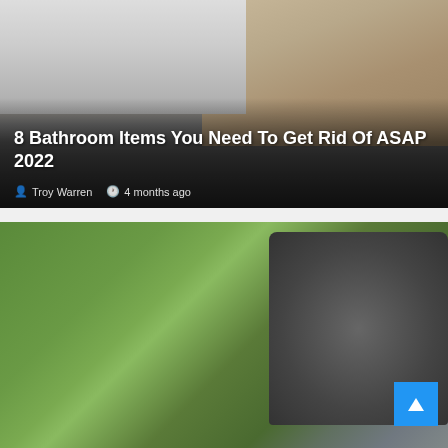[Figure (photo): Bathroom interior showing organized medicine cabinet with shelves, toiletries, and a bathroom sink with gray tile backsplash. Article card with dark overlay at bottom.]
8 Bathroom Items You Need To Get Rid Of ASAP 2022
Troy Warren   4 months ago
[Figure (photo): Person's hand reaching toward a lawn mower on a green grassy lawn with fallen leaves, partially cut off at bottom of page.]